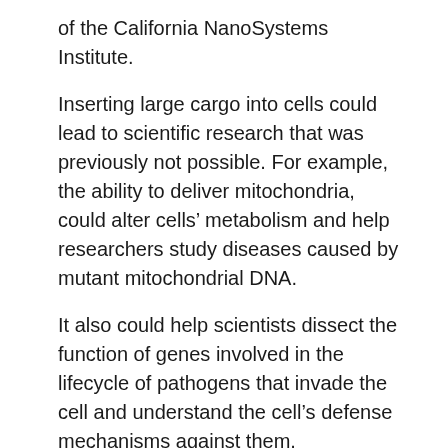of the California NanoSystems Institute.
Inserting large cargo into cells could lead to scientific research that was previously not possible. For example, the ability to deliver mitochondria, could alter cells' metabolism and help researchers study diseases caused by mutant mitochondrial DNA.
It also could help scientists dissect the function of genes involved in the lifecycle of pathogens that invade the cell and understand the cell’s defense mechanisms against them.
“Now it doesn’t matter the size or type of material you want to deliver. You can just push all of it into the cell,” Chiou said.
“The new information learned from these types of studies could assist in identifying pathogen targets for drug development, or provide fundamental insight on